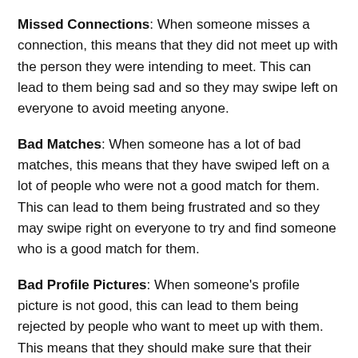Missed Connections: When someone misses a connection, this means that they did not meet up with the person they were intending to meet. This can lead to them being sad and so they may swipe left on everyone to avoid meeting anyone.
Bad Matches: When someone has a lot of bad matches, this means that they have swiped left on a lot of people who were not a good match for them. This can lead to them being frustrated and so they may swipe right on everyone to try and find someone who is a good match for them.
Bad Profile Pictures: When someone's profile picture is not good, this can lead to them being rejected by people who want to meet up with them. This means that they should make sure that their profile picture is good before they start swiping right on people.
The Bottom Line